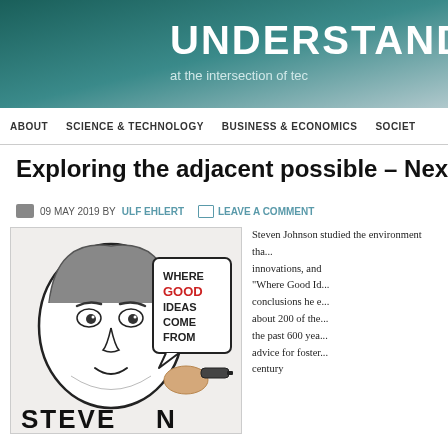[Figure (screenshot): Website header banner with dark teal/green background and white bold text reading UNDERSTAND and subtitle 'at the intersection of te...']
ABOUT   SCIENCE & TECHNOLOGY   BUSINESS & ECONOMICS   SOCIET...
Exploring the adjacent possible – Next s...
09 MAY 2019 BY ULF EHLERT   LEAVE A COMMENT
[Figure (illustration): Whiteboard animation still showing a drawn face and a speech bubble with text WHERE GOOD IDEAS COME FROM, and a hand holding a marker. Text STEVEN at the bottom.]
Steven Johnson studied the environment that fosters innovations, and in his book "Where Good Id... conclusions he e... about 200 of the... the past 600 yea... advice for foste... century